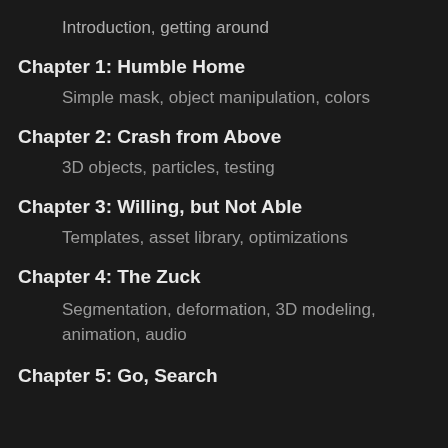Introduction, getting around
Chapter 1: Humble Home
Simple mask, object manipulation, colors
Chapter 2: Crash from Above
3D objects, particles, testing
Chapter 3: Willing, but Not Able
Templates, asset library, optimizations
Chapter 4: The Zuck
Segmentation, deformation, 3D modeling, animation, audio
Chapter 5: Go, Search